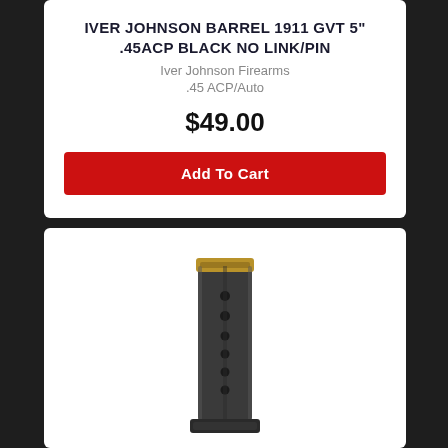IVER JOHNSON BARREL 1911 GVT 5" .45ACP BLACK NO LINK/PIN
Iver Johnson Firearms
.45 ACP/Auto
$49.00
Add To Cart
[Figure (photo): A steel pistol magazine, dark blued finish with brass follower visible at top, multiple punch holes visible on the body, with a flat baseplate at the bottom.]